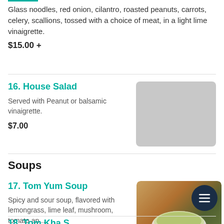Glass noodles, red onion, cilantro, roasted peanuts, carrots, celery, scallions, tossed with a choice of meat, in a light lime vinaigrette.
$15.00 +
16. House Salad
Served with Peanut or balsamic vinaigrette.
$7.00
[Figure (photo): Placeholder grey square for House Salad image]
Soups
17. Tom Yum Soup
Spicy and sour soup, flavored with lemongrass, lime leaf, mushroom, tomato an...
$4.00 +
[Figure (photo): Photo of Tom Yum Soup in a white bowl with green herbs and broth, with a dark circular navigation button overlay]
18. Tom Kha S...